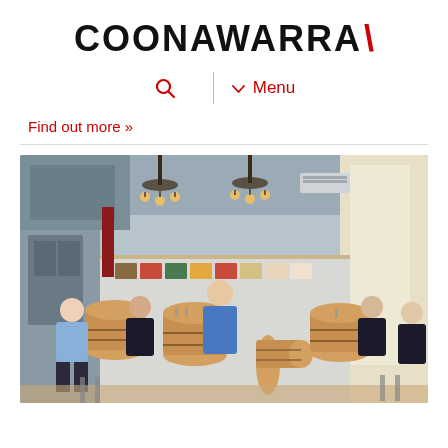[Figure (logo): Coonawarra logo with black bold text and red backslash]
[Figure (screenshot): Website navigation bar with red search icon, vertical divider, and red dropdown Menu link]
Find out more »
[Figure (photo): Interior of a winery cellar door tasting room with people seated around wine barrel tables, chandelier lighting, food photographs on the wall, and natural light from windows on the right.]